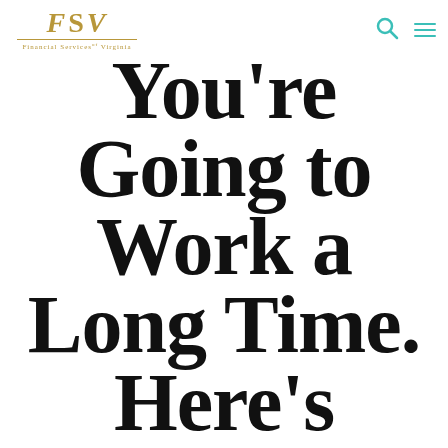FSV Financial Services of Virginia
You're Going to Work a Long Time. Here's